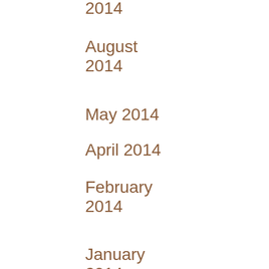2014
August 2014
May 2014
April 2014
February 2014
January 2014
November 2013
July 2013
May 2013
April 2013
March 2013
February 2013
January